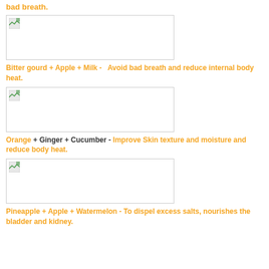bad breath.
[Figure (photo): Placeholder image for Bitter gourd + Apple + Milk combination]
Bitter gourd + Apple + Milk - Avoid bad breath and reduce internal body heat.
[Figure (photo): Placeholder image for Orange + Ginger + Cucumber combination]
Orange + Ginger + Cucumber - Improve Skin texture and moisture and reduce body heat.
[Figure (photo): Placeholder image for Pineapple + Apple + Watermelon combination]
Pineapple + Apple + Watermelon - To dispel excess salts, nourishes the bladder and kidney.